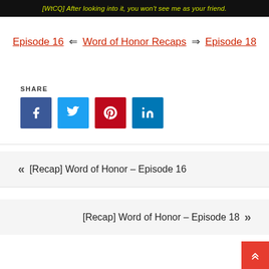[Figure (screenshot): Dark banner image with yellow italic text: [WtCQ] After looking into it, you won't see me as your friend.]
Episode 16 ⇐ Word of Honor Recaps ⇒ Episode 18
SHARE
[Figure (infographic): Social share buttons: Facebook (blue), Twitter (light blue), Pinterest (red), LinkedIn (dark blue)]
[Recap] Word of Honor – Episode 16
[Recap] Word of Honor – Episode 18